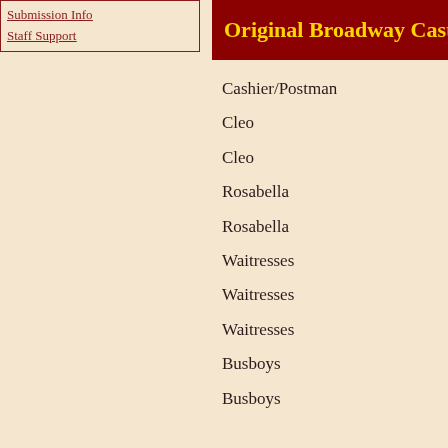Submission Info
Staff Support
Original Broadway Cast
Cashier/Postman
Cleo
Cleo
Rosabella
Rosabella
Waitresses
Waitresses
Waitresses
Busboys
Busboys